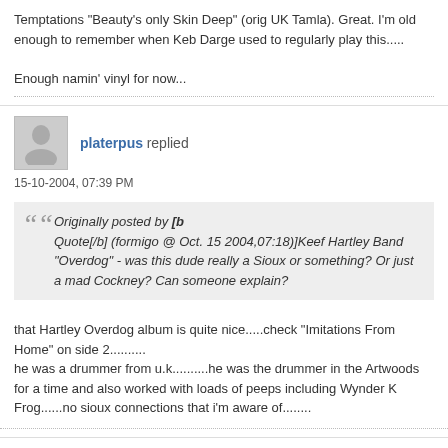Temptations &quot;Beauty&#39;s only Skin Deep&quot; (orig UK Tamla). Great. I&#39;m old enough to remember when Keb Darge used to regularly play this.....

Enough namin&#39; vinyl for now...
platerpus replied
15-10-2004, 07:39 PM
Originally posted by [b Quote[/b] (formigo @ Oct. 15 2004,07:18)]Keef Hartley Band &quot;Overdog&quot; - was this dude really a Sioux or something? Or just a mad Cockney? Can someone explain?
that Hartley Overdog album is quite nice.....check &quot;Imitations From Home&quot; on side 2..........
he was a drummer from u.k..........he was the drummer in the Artwoods for a time and also worked with loads of peeps including Wynder K Frog......no sioux connections that i&#39;m aware of........
Lord Thames replied
15-10-2004, 03:06 PM